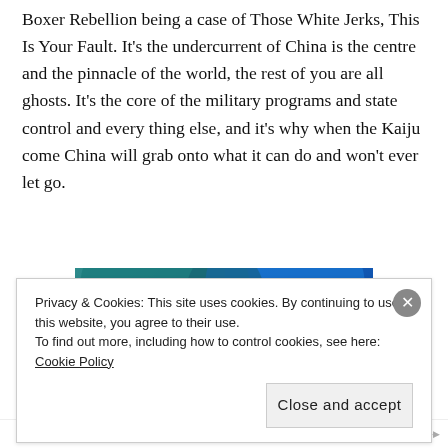Boxer Rebellion being a case of Those White Jerks, This Is Your Fault. It's the undercurrent of China is the centre and the pinnacle of the world, the rest of you are all ghosts. It's the core of the military programs and state control and every thing else, and it's why when the Kaiju come China will grab onto what it can do and won't ever let go.
[Figure (illustration): Partial view of a colorful graphic or movie poster with teal, blue, and pink tones, partially obscured by the cookie consent banner.]
Privacy & Cookies: This site uses cookies. By continuing to use this website, you agree to their use.
To find out more, including how to control cookies, see here: Cookie Policy
Close and accept